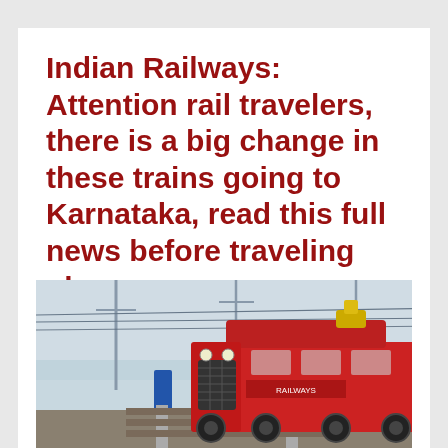Indian Railways: Attention rail travelers, there is a big change in these trains going to Karnataka, read this full news before traveling plan
Uncategorized
[Figure (photo): A red Indian Railways locomotive/train engine on tracks, with overhead electric cables and poles visible in the background. The scene appears to be in a foggy or hazy outdoor setting.]